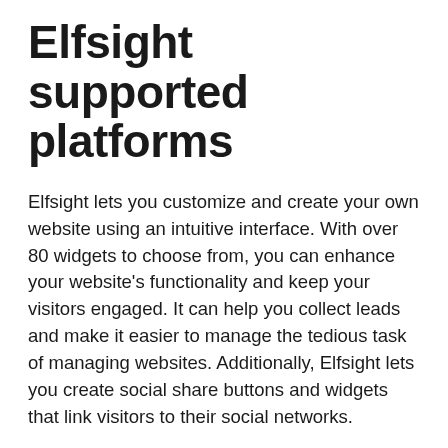Elfsight supported platforms
Elfsight lets you customize and create your own website using an intuitive interface. With over 80 widgets to choose from, you can enhance your website’s functionality and keep your visitors engaged. It can help you collect leads and make it easier to manage the tedious task of managing websites. Additionally, Elfsight lets you create social share buttons and widgets that link visitors to their social networks.
The platform offers free lifetime support, more than 60 widgets, and seamless integrations that can help you customize